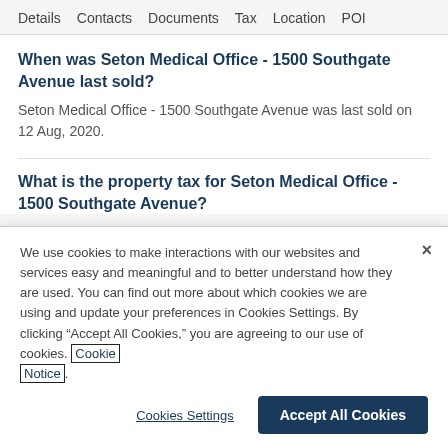Details   Contacts   Documents   Tax   Location   POI
When was Seton Medical Office - 1500 Southgate Avenue last sold?
Seton Medical Office - 1500 Southgate Avenue was last sold on 12 Aug, 2020.
What is the property tax for Seton Medical Office - 1500 Southgate Avenue?
We use cookies to make interactions with our websites and services easy and meaningful and to better understand how they are used. You can find out more about which cookies we are using and update your preferences in Cookies Settings. By clicking “Accept All Cookies,” you are agreeing to our use of cookies. Cookie Notice.
Cookies Settings   Accept All Cookies